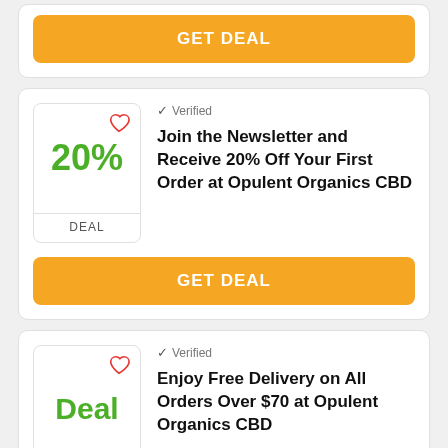[Figure (screenshot): GET DEAL orange button at top of a deals card (partial card visible)]
[Figure (screenshot): Deal badge showing 20% with heart icon and DEAL label at bottom]
✓ Verified
Join the Newsletter and Receive 20% Off Your First Order at Opulent Organics CBD
[Figure (screenshot): GET DEAL orange button]
[Figure (screenshot): Deal badge showing 'Deal' text with heart icon]
✓ Verified
Enjoy Free Delivery on All Orders Over $70 at Opulent Organics CBD